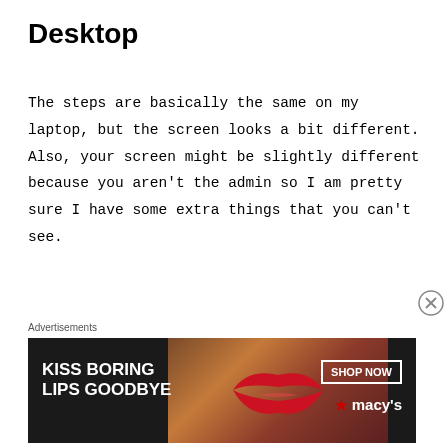Desktop
The steps are basically the same on my laptop, but the screen looks a bit different. Also, your screen might be slightly different because you aren't the admin so I am pretty sure I have some extra things that you can't see.
Choose, “More” from the menu bar, then choose “Media” from the drop down menu. Select
[Figure (infographic): Advertisement banner for Macy's lip products. Text reads 'KISS BORING LIPS GOODBYE' on the left with a 'SHOP NOW' button and Macy's star logo on the right. Background shows a woman's face with red lips.]
Advertisements